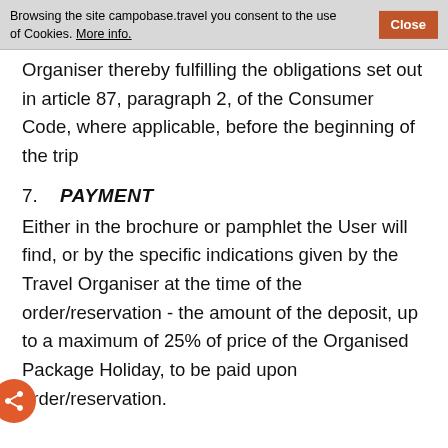Browsing the site campobase.travel you consent to the use of Cookies. More info.
Organiser thereby fulfilling the obligations set out in article 87, paragraph 2, of the Consumer Code, where applicable, before the beginning of the trip
7.   PAYMENT
Either in the brochure or pamphlet the User will find, or by the specific indications given by the Travel Organiser at the time of the order/reservation - the amount of the deposit, up to a maximum of 25% of price of the Organised Package Holiday, to be paid upon order/reservation.